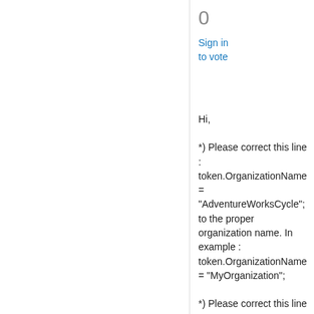0
Sign in
to vote
Hi,
*) Please correct this line : token.OrganizationName = "AdventureWorksCycle"; to the proper organization name. In example : token.OrganizationName = "MyOrganization";
*) Please correct this line service.Url = "http://<servername>:<port>/mscrmservices/2007/crmservice.asmx";
into this line for example : service.Url = "http://localhost:5555/mscrmservices/2007/crmservice.asmx";
*) Please make sure that you run this code under a system user account who has System Administrator role for testing purposes in order to eliminate permission